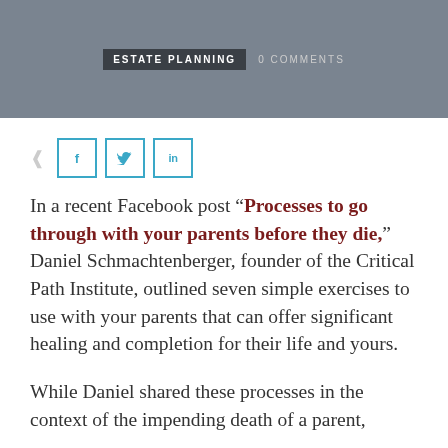ESTATE PLANNING   0 COMMENTS
[Figure (other): Social share icons: share arrow, Facebook (f), Twitter (bird), LinkedIn (in) buttons with teal borders]
In a recent Facebook post “Processes to go through with your parents before they die,” Daniel Schmachtenberger, founder of the Critical Path Institute, outlined seven simple exercises to use with your parents that can offer significant healing and completion for their life and yours.
While Daniel shared these processes in the context of the impending death of a parent,